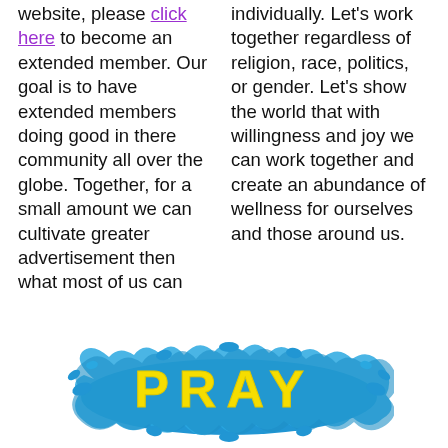website, please click here to become an extended member. Our goal is to have extended members doing good in there community all over the globe. Together, for a small amount we can cultivate greater advertisement then what most of us can
individually. Let's work together regardless of religion, race, politics, or gender. Let's show the world that with willingness and joy we can work together and create an abundance of wellness for ourselves and those around us.
[Figure (illustration): Blue paint splash graphic with bold yellow text reading 'PRAY' in large capital letters with wide letter spacing]